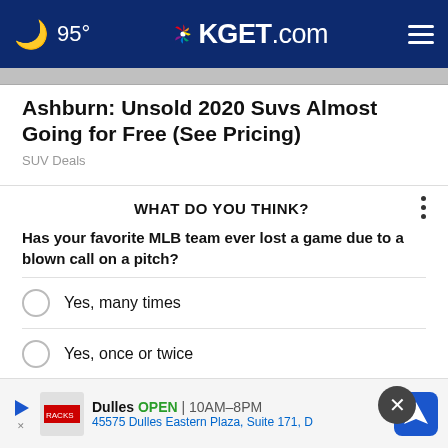🌙 95° KGET.com
Ashburn: Unsold 2020 Suvs Almost Going for Free (See Pricing)
SUV Deals
WHAT DO YOU THINK?
Has your favorite MLB team ever lost a game due to a blown call on a pitch?
Yes, many times
Yes, once or twice
No, not at all
C…
[Figure (screenshot): Bottom advertisement banner: Dulles OPEN 10AM-8PM, 45575 Dulles Eastern Plaza, Suite 171, D — with play button, logo placeholder, and blue navigation icon]